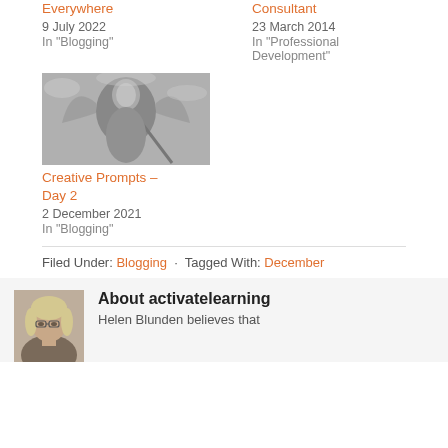Everywhere
9 July 2022
In "Blogging"
Consultant
23 March 2014
In "Professional Development"
[Figure (photo): Black and white illustration of an angel-like figure holding a staff or instrument]
Creative Prompts – Day 2
2 December 2021
In "Blogging"
Filed Under: Blogging · Tagged With: December
About activatelearning
[Figure (photo): Portrait photo of a woman with blonde hair and glasses]
Helen Blunden believes that